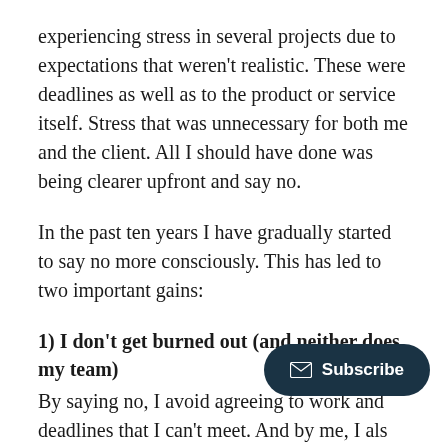experiencing stress in several projects due to expectations that weren't realistic. These were deadlines as well as to the product or service itself. Stress that was unnecessary for both me and the client. All I should have done was being clearer upfront and say no.
In the past ten years I have gradually started to say no more consciously. This has led to two important gains:
1) I don't get burned out (and neither does my team)
By saying no, I avoid agreeing to work and deadlines that I can't meet. And by me, I als… work with. I no longer fight uphill… in control of my projects. That means I don't lose